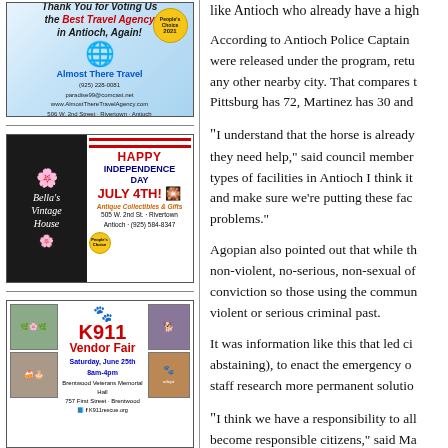[Figure (illustration): Travel agency advertisement: 'Thank You for Voting Us the Best Travel Agency in Antioch, Again!' with globe graphic, Almost There Travel logo, People's Choice 2021 badge, contact info and address.]
[Figure (illustration): Bella's Vintage House Happy Independence Day July 4th ad. Antique Collectibles & Gifts, 505 W. 2nd St. Rivertown Antioch (925) 584-8347. People's Choice badge.]
[Figure (illustration): K911 Vendor Fair ad. Saturday, June 25th 8am-4pm. Brentwood Veterans Memorial Hall, 757 First Street - Brentwood. K911rescue.org.]
like Antioch who already have a high...
According to Antioch Police Captain ... were released under the program, retu... any other nearby city. That compares t... Pittsburg has 72, Martinez has 30 and...
“I understand that the horse is already... they need help,” said council member... types of facilities in Antioch I think it... and make sure we’re putting these fac... problems.”
Agopian also pointed out that while th... non-violent, no-serious, non-sexual of... conviction so those using the commun... violent or serious criminal past.
It was information like this that led ci... abstaining), to enact the emergency o... staff research more permanent solutio...
“I think we have a responsibility to all... become responsible citizens,” said Ma... restrictions… not near schools, not ne... commercial area or near social service...